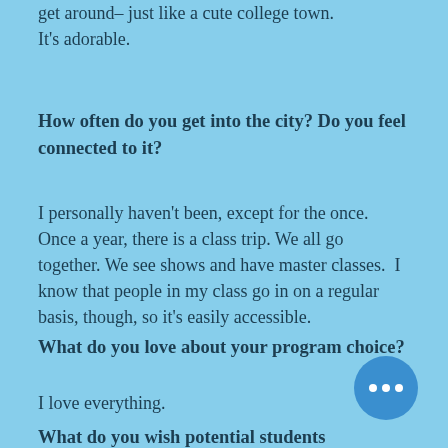get around– just like a cute college town. It's adorable.
How often do you get into the city? Do you feel connected to it?
I personally haven't been, except for the once. Once a year, there is a class trip. We all go together. We see shows and have master classes.  I know that people in my class go in on a regular basis, though, so it's easily accessible.
What do you love about your program choice?
I love everything.
What do you wish potential students